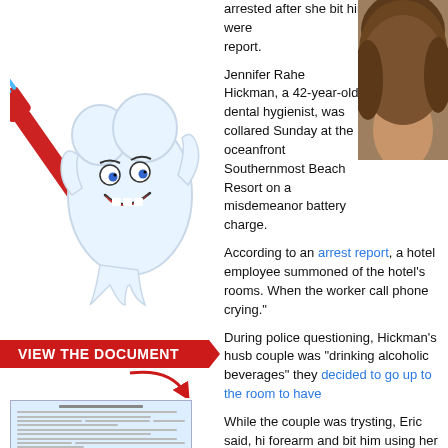[Figure (illustration): Cartoon tooth character holding a red toothbrush, smiling with googly eyes, waving one hand]
[Figure (infographic): Red arrow banner reading VIEW THE DOCUMENT with a preview of an arrest report document below it]
arrested after she bit him while they were report.
Jennifer Rahe Hickman, a 42-year-old dental hygienist, was collared Sunday at the oceanfront Southernmost Beach Resort on a misdemeanor battery charge.
[Figure (photo): Partial photo of a person's head/hair from behind, close-up, dark background]
According to an arrest report, a hotel employee summoned of the hotel's rooms. When the worker call phone crying."
During police questioning, Hickman's husb couple was "drinking alcoholic beverages" they "decided to go up to the room to have
While the couple was trysting, Eric said, hi forearm and bit him using her teeth." The b earlier by Jennifer yelling at her spouse an
A Key West Police Department officer obse